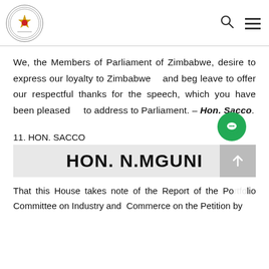Parliament of Zimbabwe - header with logo, search icon, and menu icon
We, the Members of Parliament of Zimbabwe, desire to express our loyalty to Zimbabwe and beg leave to offer our respectful thanks for the speech, which you have been pleased to address to Parliament. – Hon. Sacco.
11. HON. SACCO
HON. N.MGUNI
That this House takes note of the Report of the Portfolio Committee on Industry and Commerce on the Petition by